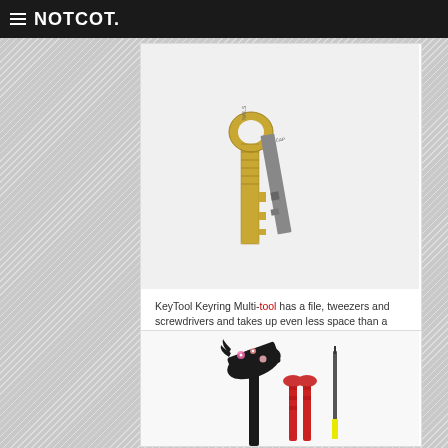NOTCOT.
[Figure (photo): A golden key with a multi-tool attachment showing file and screwdriver components]
KeyTool Keyring Multi-tool has a file, tweezers and screwdrivers and takes up even less space than a pocket knife.
#33522
[Figure (photo): Decorative tools including a floral-patterned hammer, pliers and screwdriver]